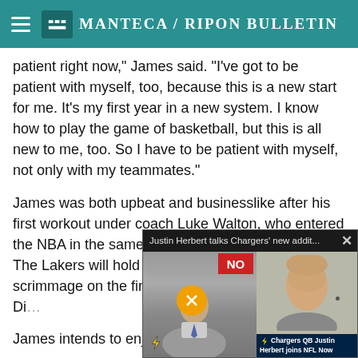Manteca / Ripon Bulletin
patient right now," James said. "I've got to be patient with myself, too, because this is a new start for me. It's my first year in a new system. I know how to play the game of basketball, but this is all new to me, too. So I have to be patient with myself, not only with my teammates."
James was both upbeat and businesslike after his first workout under coach Luke Walton, who entered the NBA in the same draft class as James in 2003. The Lakers will hold double practices and a scrimmage on the first t… preseason debut in San Di…
James intends to enjoy th…
"We're here for one reason… someday hoist the trophy,"… of the road, but you have t…
[Figure (screenshot): Embedded video overlay card showing 'Justin Herbert talks Chargers' new addit...' with a presenter in a studio and Justin Herbert in a separate panel, with caption 'Chargers QB Justin Herbert joins NFL Now']